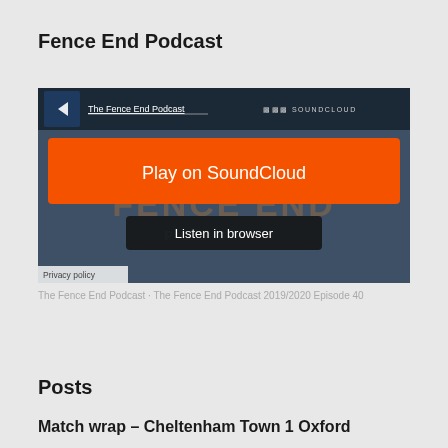Fence End Podcast
[Figure (screenshot): SoundCloud embedded player for The Fence End Podcast showing 'Play on SoundCloud' orange button and 'Listen in browser' dark button, with Privacy policy link in bottom-left corner]
The Fence End Podcast · The Fence End Podcast 2019/2020 Episode 40
Posts
Match wrap – Cheltenham Town 1 Oxford